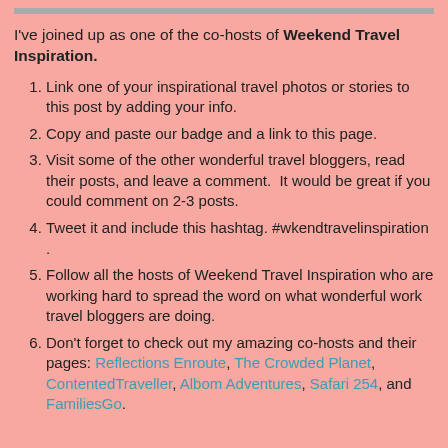I've joined up as one of the co-hosts of Weekend Travel Inspiration.
Link one of your inspirational travel photos or stories to this post by adding your info.
Copy and paste our badge and a link to this page.
Visit some of the other wonderful travel bloggers, read their posts, and leave a comment.  It would be great if you could comment on 2-3 posts.
Tweet it and include this hashtag. #wkendtravelinspiration .
Follow all the hosts of Weekend Travel Inspiration who are working hard to spread the word on what wonderful work travel bloggers are doing.
Don't forget to check out my amazing co-hosts and their pages: Reflections Enroute, The Crowded Planet, ContentedTraveller, Albom Adventures, Safari 254, and FamiliesGo.